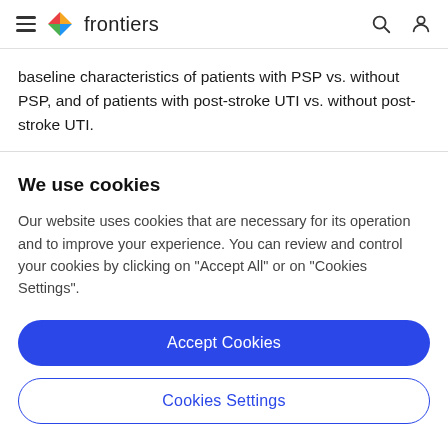frontiers
baseline characteristics of patients with PSP vs. without PSP, and of patients with post-stroke UTI vs. without post-stroke UTI.
We use cookies
Our website uses cookies that are necessary for its operation and to improve your experience. You can review and control your cookies by clicking on "Accept All" or on "Cookies Settings".
Accept Cookies
Cookies Settings